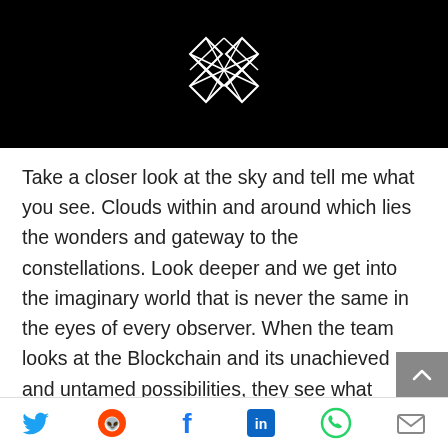[Figure (logo): White geometric diamond/cross pattern logo on black background, with three horizontal white lines (hamburger menu icon) below it]
Take a closer look at the sky and tell me what you see. Clouds within and around which lies the wonders and gateway to the constellations. Look deeper and we get into the imaginary world that is never the same in the eyes of every observer. When the team looks at the Blockchain and its unachieved and untamed possibilities, they see what others do not. They see endless use with the tendency to change
[Figure (infographic): Social sharing toolbar at bottom with Twitter (blue bird), Reddit (orange alien), Facebook (blue f), LinkedIn (blue in), WhatsApp (green phone), and email (grey envelope) icons]